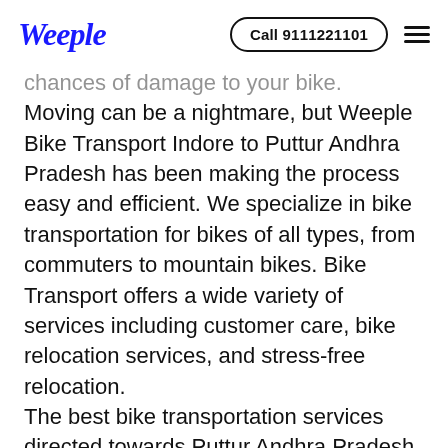Weeple | Call 9111221101
chances of damage to your bike. Moving can be a nightmare, but Weeple Bike Transport Indore to Puttur Andhra Pradesh has been making the process easy and efficient. We specialize in bike transportation for bikes of all types, from commuters to mountain bikes. Bike Transport offers a wide variety of services including customer care, bike relocation services, and stress-free relocation. The best bike transportation services directed towards Puttur Andhra Pradesh in Indore are needed by many people who are moving their household goods to a new location and require other Indore to Puttur Andhra Pradesh transport